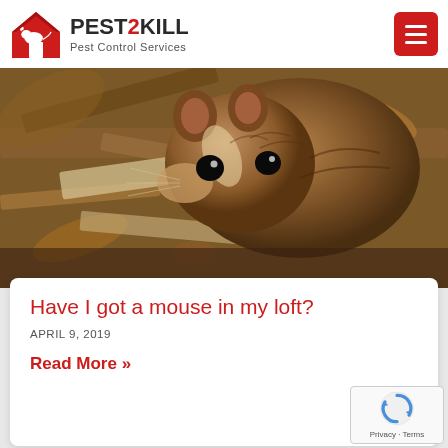Blogs
[Figure (logo): Pest2Kill Pest Control Services logo with red house icon containing a white rat silhouette]
[Figure (photo): Close-up photograph of a brown mouse (wood mouse) with large dark eyes, sitting among dry leaves and twigs]
Have I got a mouse in my loft?
APRIL 9, 2019
Read More »